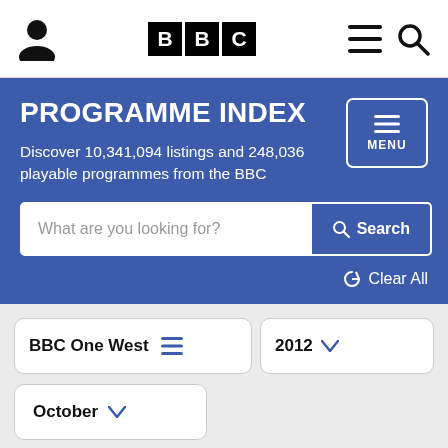BBC Programme Index
PROGRAMME INDEX
Discover 10,341,094 listings and 248,036 playable programmes from the BBC
What are you looking for? Search
Clear All
BBC One West 2012
October
Sat Sun Mon Tue Wed